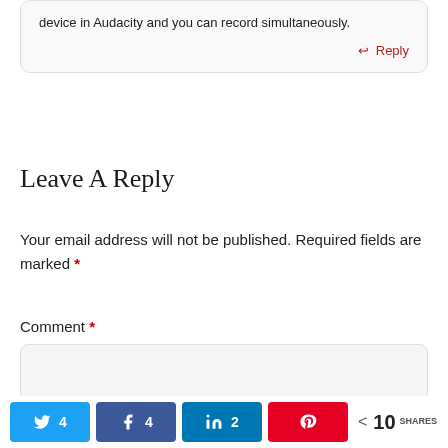device in Audacity and you can record simultaneously.
↩ Reply
Leave A Reply
Your email address will not be published. Required fields are marked *
Comment *
[Figure (screenshot): Comment input text area box]
[Figure (infographic): Social share bar with Twitter (4), Facebook (4), LinkedIn (2), Pinterest buttons, and total 10 SHARES]